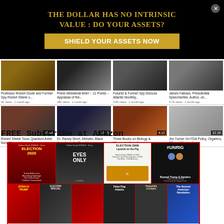[Figure (infographic): Advertisement banner with black background, gold text reading 'THE DOLLAR HAS NO INTRINSIC VALUE : DO YOUR ASSETS?' and a gold button 'SHIELD YOUR ASSETS NOW' with an X close button]
[Figure (screenshot): YouTube video grid showing 8 video thumbnails in 2 rows of 4. Row 1: 'Professor Robert Dover and Former Spy Robert Steele o...' 5K views 1 month ago; 'Prime Ministerial Brief -- 11 Points -- Appraisal of the...' 18K views 1 month ago; 'Futurist & Former Spy Discuss Atlantic Monthly...' 3.8K views 1 month ago; 'James Fallows, Presidential Speechwriter, Author, on...' 9.7K views 1 month ago. Row 2 (with durations): 'Robert Steele Tours Quantum Artist Nora Maccoby's...' 20:44; 'Dr. Randy Short, Minister, Black Americans for Donald...' 32:33; 'Three Books on Biology & Weaponization of...' 4:12; 'Jim Turner On FDA Policy, Organics, 5G and Monsanto...' 33:28]
FREE Subscribe at Amazon
[Figure (photo): Grid of book covers including: ELECTION 2020 (red cover), EYES ONLY (dark cover with face), ELECTION 2008 Lipstick on the Pig (white cover), #UNRIG Beyond Trump & Sanders (black cover). Bottom row includes additional book covers including False Flag Attacks, Pedophilia & Empire, The Second American Revolution]